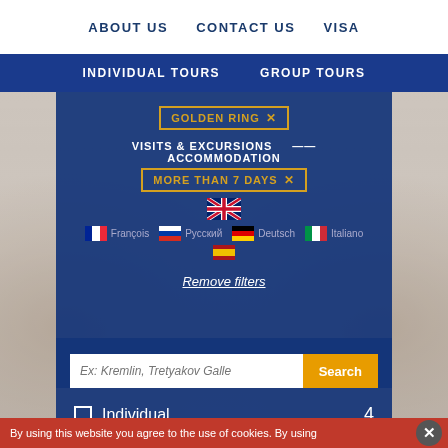ABOUT US   CONTACT US   VISA
INDIVIDUAL TOURS   GROUP TOURS
[Figure (screenshot): Travel website UI showing filter panel with Golden Ring, Visits & Excursions, More Than 7 Days filter tags, language flags (French, Russian, English UK, German, Italian, Spanish), a search bar with placeholder 'Ex: Kremlin, Tretyakov Galle', Search button, Individual checkbox with count 4, City/Region section, social media icons, and cookie consent bar]
Remove filters
Ex: Kremlin, Tretyakov Galle
Individual   4
CITY / REGION   +
By using this website you agree to the use of cookies. By using